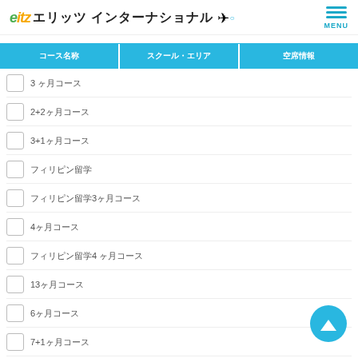エリッツ インターナショナル MENU
| コース名称 | スクール・エリア | 空席情報 |
| --- | --- | --- |
| 3 ヶ月コース |  |  |
| 2+2ヶ月コース |  |  |
| 3+1ヶ月コース |  |  |
| フィリピン留学 |  |  |
| フィリピン留学3ヶ月コース |  |  |
| 4ヶ月コース |  |  |
| フィリピン留学4 ヶ月コース |  |  |
| 13ヶ月コース |  |  |
| 6ヶ月コース |  |  |
| 7+1ヶ月コース |  |  |
| 7ヶ月コース |  |  |